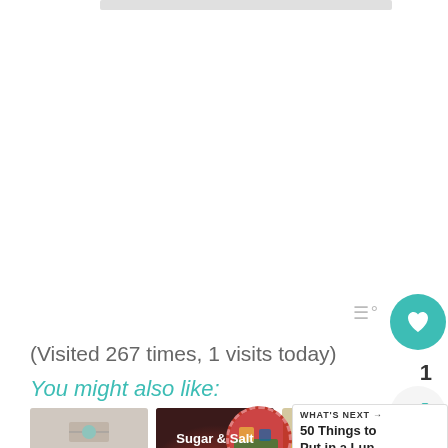[Figure (screenshot): Top thin gray navigation/progress bar at the top of the page]
(Visited 267 times, 1 visits today)
You might also like:
[Figure (screenshot): UI widget on right side showing teal heart/save button with count of 1, three-lines icon, and share icon]
[Figure (photo): Thumbnail 1: jewelry/gifts item with text 'Favorite Gifts for wife' on light background]
[Figure (photo): Thumbnail 2: Sugar & Salt Scrub recipe on dark red/brown background]
[Figure (photo): Thumbnail 3: Vegetable Beef text overlay on food/vegetable image]
[Figure (photo): WHAT'S NEXT panel with circular food image and title '50 Things to Put in a Lun...']